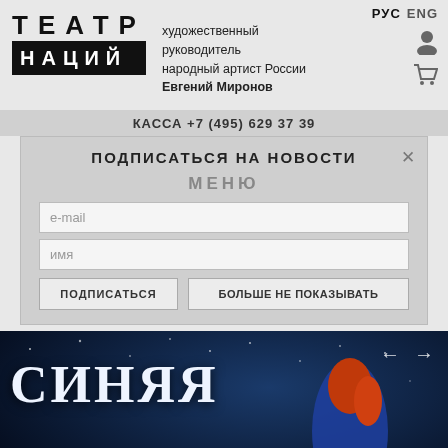[Figure (logo): Театр Наций logo — ТЕАТР in spaced capitals above, НАЦИЙ on black background]
художественный руководитель народный артист России Евгений Миронов
РУС ENG
КАССА +7 (495) 629 37 39
ПОДПИСАТЬСЯ НА НОВОСТИ
МЕНЮ
e-mail
имя
ПОДПИСАТЬСЯ
БОЛЬШЕ НЕ ПОКАЗЫВАТЬ
[Figure (illustration): Dark night sky banner with illustrated red-haired girl in blue coat sitting on a globe, with Cyrillic text СИНЯЯ СИНЯЯ in large white letters]